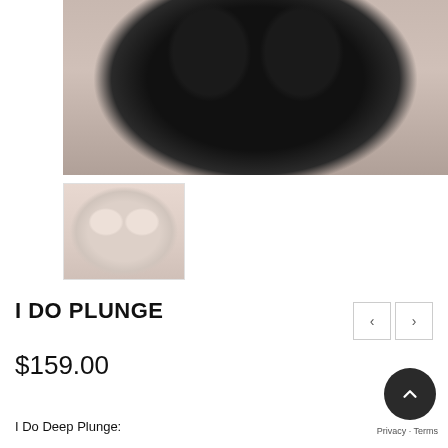[Figure (photo): Main product photo showing a woman wearing a black lace plunge bra, cropped to show torso]
[Figure (photo): Thumbnail photo showing a woman wearing a nude/beige lace plunge bra, full upper body view]
I DO PLUNGE
$159.00
I Do Deep Plunge: